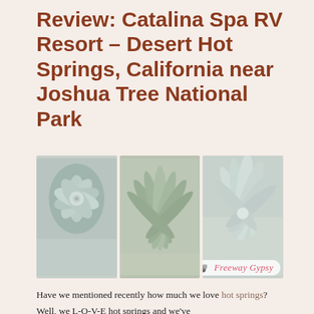Review: Catalina Spa RV Resort – Desert Hot Springs, California near Joshua Tree National Park
[Figure (photo): Three-panel photo collage of desert succulents/agave plants in blue-gray tones, with a Freeway Gypsy watermark logo in the bottom right corner.]
Have we mentioned recently how much we love hot springs? Well, we L-O-V-E hot springs and we've spent a lot of time finding the best options out there. A lot.